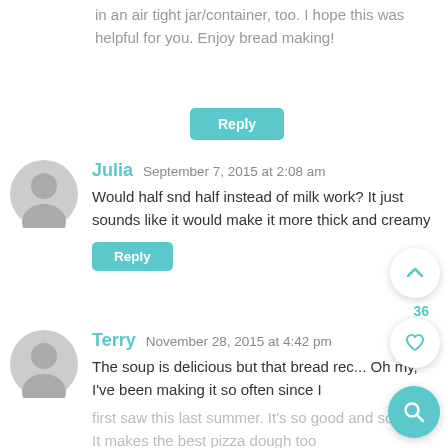in an air tight jar/container, too. I hope this was helpful for you. Enjoy bread making!
Reply
Julia  September 7, 2015 at 2:08 am
Would half snd half instead of milk work? It just sounds like it would make it more thick and creamy
Reply
Terry  November 28, 2015 at 4:42 pm
The soup is delicious but that bread rec... Oh my, I've been making it so often since I first saw this last summer. It's so good and so easy. It makes the best pizza dough too